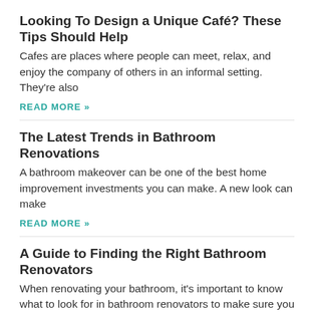Looking To Design a Unique Café? These Tips Should Help
Cafes are places where people can meet, relax, and enjoy the company of others in an informal setting. They're also
READ MORE »
The Latest Trends in Bathroom Renovations
A bathroom makeover can be one of the best home improvement investments you can make. A new look can make
READ MORE »
A Guide to Finding the Right Bathroom Renovators
When renovating your bathroom, it's important to know what to look for in bathroom renovators to make sure you choose
READ MORE »